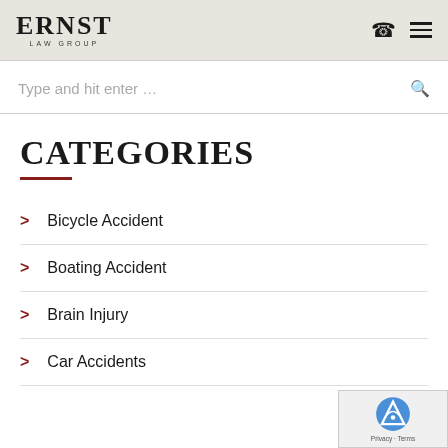ERNST LAW GROUP
Type and hit enter …
CATEGORIES
Bicycle Accident
Boating Accident
Brain Injury
Car Accidents